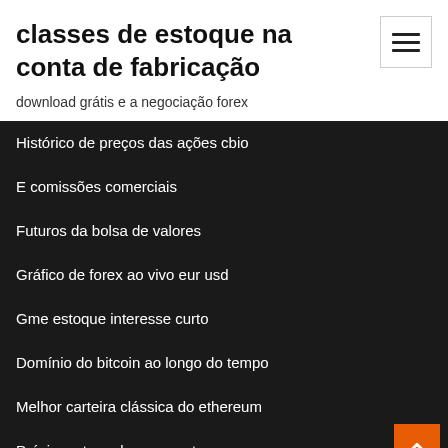classes de estoque na conta de fabricação
download grátis e a negociação forex
Histórico de preços das ações cbio
E comissões comerciais
Futuros da bolsa de valores
Gráfico de forex ao vivo eur usd
Gme estoque interesse curto
Domínio do bitcoin ao longo do tempo
Melhor carteira clássica do ethereum
Próximos tops de ouro preto